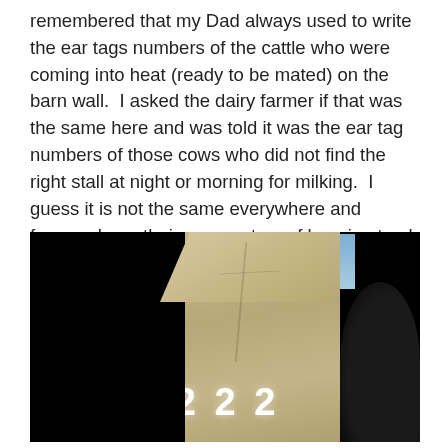remembered that my Dad always used to write the ear tags numbers of the cattle who were coming into heat (ready to be mated) on the barn wall.  I asked the dairy farmer if that was the same here and was told it was the ear tag numbers of those cows who did not find the right stall at night or morning for milking.  I guess it is not the same everywhere and farmers have their own system of keeping track of things going on around the farm.
[Figure (photo): A dark photograph showing a stone or concrete barn wall/post structure. White numbers '2 2 2' or similar digits are written at the bottom of the stone surface. A dark silhouette figure is partially visible on the right side. The left and right edges of the image are very dark/black, with a small peek of blue sky visible in the upper right area.]